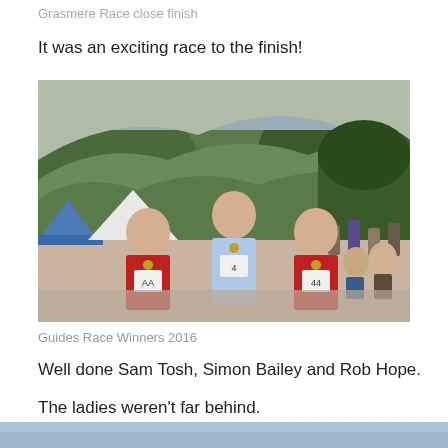Grasmere Race close finish
It was an exciting race to the finish!
[Figure (photo): Three male runners posing for a photo after the Guides Race, wearing red and light blue running vests with race numbers and medals, standing in front of a green hillside with crowd in background.]
Guides Race Winners 2016
Well done Sam Tosh, Simon Bailey and Rob Hope.
The ladies weren't far behind.
[Figure (photo): Partial view of another race photo, cropped at bottom of page.]